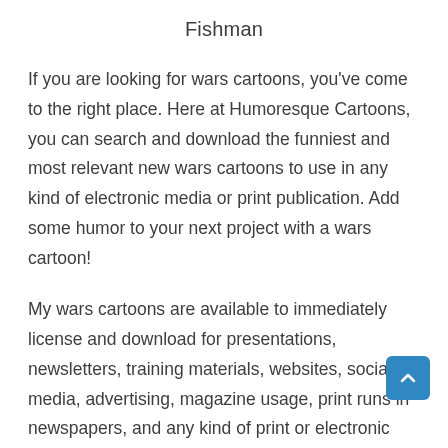Fishman
If you are looking for wars cartoons, you've come to the right place. Here at Humoresque Cartoons, you can search and download the funniest and most relevant new wars cartoons to use in any kind of electronic media or print publication. Add some humor to your next project with a wars cartoon!
My wars cartoons are available to immediately license and download for presentations, newsletters, training materials, websites, social media, advertising, magazine usage, print runs in newspapers, and any kind of print or electronic media. Cartoons are a great way to communicate your message about wars with